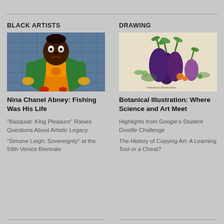BLACK ARTISTS
[Figure (illustration): Colorful painting of a figure wearing a green outfit and yellow/orange apron against a tiled background, in the style of Nina Chanel Abney]
Nina Chanel Abney: Fishing Was His Life
“Basquiat: King Pleasure” Raises Questions About Artistic Legacy
"Simone Leigh: Sovereignty" at the 59th Venice Biennale
DRAWING
[Figure (illustration): Botanical illustration of eggplants (aubergines) and other vegetables arranged together, detailed scientific-style drawing]
Botanical Illustration: Where Science and Art Meet
Highlights from Google’s Student Doodle Challenge
The History of Copying Art: A Learning Tool or a Cheat?